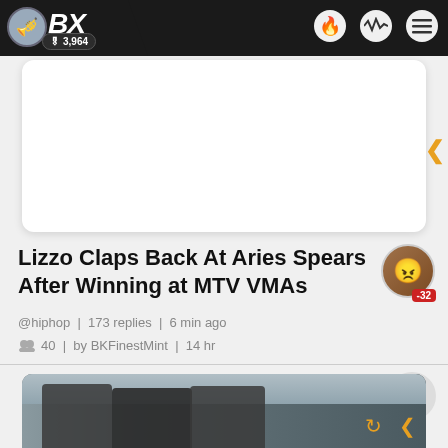BX | 3,964
[Figure (screenshot): White card placeholder image area]
Lizzo Claps Back At Aries Spears After Winning at MTV VMAs
@hiphop | 173 replies | 6 min ago
40 | by BKFinestMint | 14 hr
[Figure (photo): Photo of three men in dark jackets outdoors]